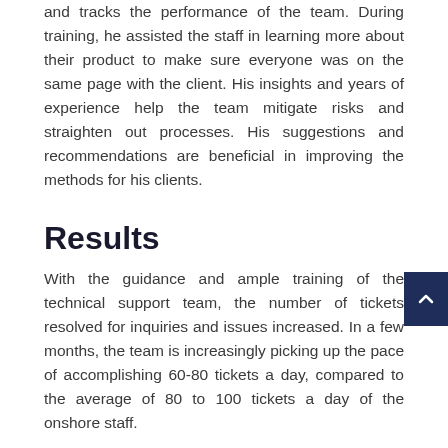and tracks the performance of the team. During training, he assisted the staff in learning more about their product to make sure everyone was on the same page with the client. His insights and years of experience help the team mitigate risks and straighten out processes. His suggestions and recommendations are beneficial in improving the methods for his clients.
Results
With the guidance and ample training of the technical support team, the number of tickets resolved for inquiries and issues increased. In a few months, the team is increasingly picking up the pace of accomplishing 60-80 tickets a day, compared to the average of 80 to 100 tickets a day of the onshore staff.
It helps that the staff is adaptive in learning the products of the client. Aside from the client's training,